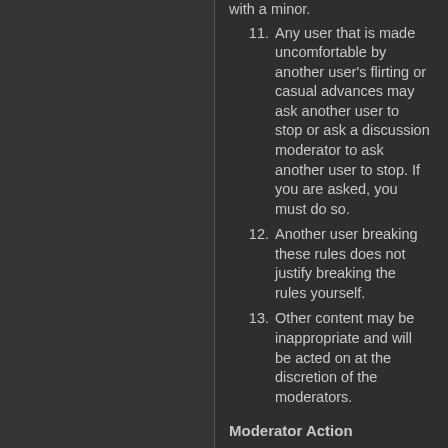with a minor.
11. Any user that is made uncomfortable by another user's flirting or casual advances may ask another user to stop or ask a discussion moderator to ask another user to stop. If you are asked, you must do so.
12. Another user breaking these rules does not justify breaking the rules yourself.
13. Other content may be inappropriate and will be acted on at the discretion of the moderators.
Moderator Action
1. If you feel someone has crossed the line